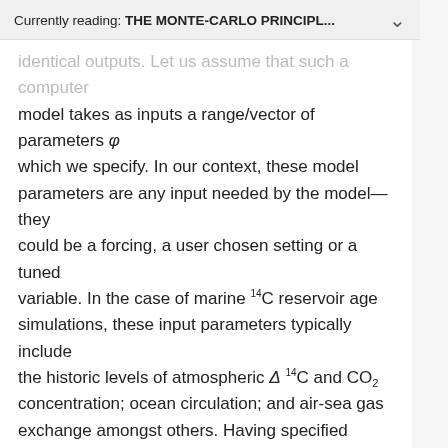Currently reading: THE MONTE-CARLO PRINCIPL…
identical outputs. Let us assume that such a computer model takes as inputs a range/vector of parameters φ which we specify. In our context, these model parameters are any input needed by the model—they could be a forcing, a user chosen setting or a tuned variable. In the case of marine 14C reservoir age simulations, these input parameters typically include the historic levels of atmospheric Δ 14C and CO₂ concentration; ocean circulation; and air-sea gas exchange amongst others. Having specified values for these inputs, the model prediction at any calendar age θ is then represented by the deterministic function f(θ; φ).
In the case of a deterministic computer model, output uncertainty arises from two sources (see Section 2 of Kennedy and O'Hagan 2001). The first is model